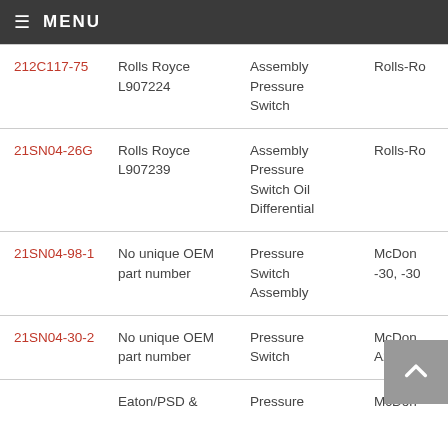≡ MENU
| Part Number | OEM Part Number | Description | Manufacturer |
| --- | --- | --- | --- |
| 212C117-75 | Rolls Royce L907224 | Assembly Pressure Switch | Rolls-Ro… |
| 21SN04-26G | Rolls Royce L907239 | Assembly Pressure Switch Oil Differential | Rolls-Ro… |
| 21SN04-98-1 | No unique OEM part number | Pressure Switch Assembly | McDon… -30, -30 |
| 21SN04-30-2 | No unique OEM part number | Pressure Switch | McDon… A22WE… |
|  | Eaton/PSD & | Pressure | McDon… |